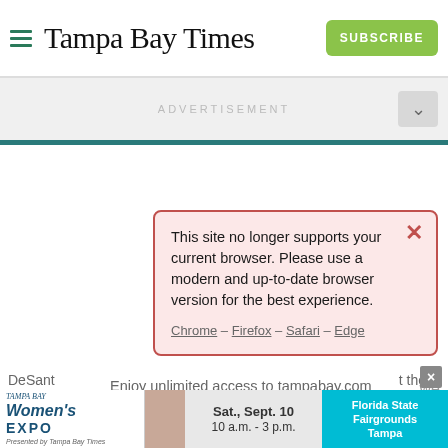Tampa Bay Times
[Figure (screenshot): Tampa Bay Times website screenshot showing browser compatibility warning popup overlay on subscription page with ad banner]
This site no longer supports your current browser. Please use a modern and up-to-date browser version for the best experience.
Chrome – Firefox – Safari – Edge
Enjoy unlimited access to tampabay.com for only $11.75 $0.99 for the first month.
Subscribe  Log In
Interested in print delivery? Subscribe here →
[Figure (screenshot): Tampa Bay Women's Expo advertisement banner: Sat., Sept. 10 10 a.m. - 3 p.m. Florida State Fairgrounds Tampa]